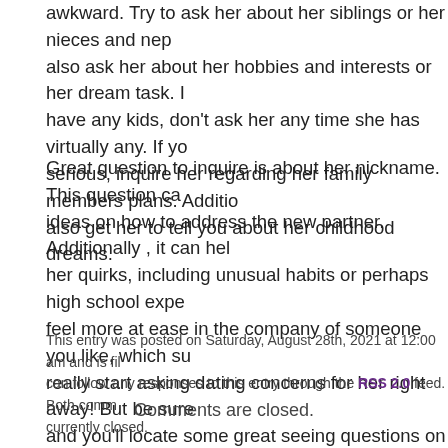awkward. Try to ask her about her siblings or her nieces and nephews. You can also ask her about her hobbies and interests or her dream task. If she doesn't have any kids, don't ask her any time she has virtually any. If you're getting serious, inquire her regarding her family members plans. Additionally , you can also get her to tell you about her childhood dreams.
Great question to inquire is about her nickname. This question can give you ideas on how to address the new partner. Additionally , it can help you learn her quirks, including unusual habits or perhaps high school experiences. You'll feel more at ease in the company of someone you like, which suggests you can really start asking dating concerns for her right away! But be sure to have fun, and you'll locate some great seeing questions on her behalf, too.
This entry was posted on Saturday, August 28th, 2021 at 12:00 am and is filed. You can follow any responses to this entry through the RSS 2.0 feed. Both comments and pings are currently closed.
Comments are closed.